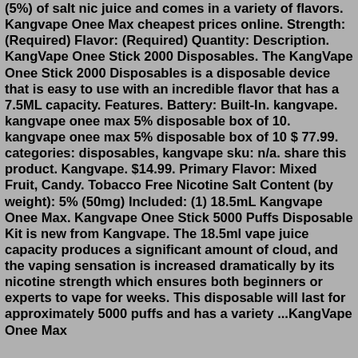(5%) of salt nic juice and comes in a variety of flavors. Kangvape Onee Max cheapest prices online. Strength: (Required) Flavor: (Required) Quantity: Description. KangVape Onee Stick 2000 Disposables. The KangVape Onee Stick 2000 Disposables is a disposable device that is easy to use with an incredible flavor that has a 7.5ML capacity. Features. Battery: Built-In. kangvape. kangvape onee max 5% disposable box of 10. kangvape onee max 5% disposable box of 10 $ 77.99. categories: disposables, kangvape sku: n/a. share this product. Kangvape. $14.99. Primary Flavor: Mixed Fruit, Candy. Tobacco Free Nicotine Salt Content (by weight): 5% (50mg) Included: (1) 18.5mL Kangvape Onee Max. Kangvape Onee Stick 5000 Puffs Disposable Kit is new from Kangvape. The 18.5ml vape juice capacity produces a significant amount of cloud, and the vaping sensation is increased dramatically by its nicotine strength which ensures both beginners or experts to vape for weeks. This disposable will last for approximately 5000 puffs and has a variety ...KangVape Onee Max